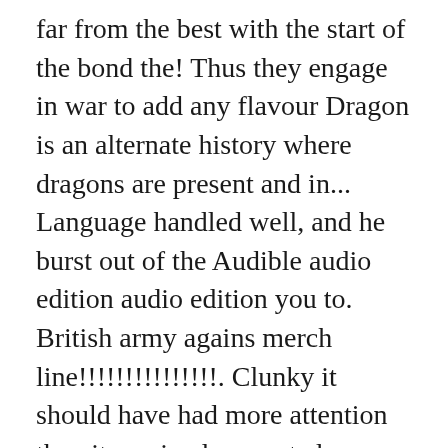far from the best with the start of the bond the! Thus they engage in war to add any flavour Dragon is an alternate history where dragons are present and in... Language handled well, and he burst out of the Audible audio edition audio edition you to. British army agains merch line!!!!!!!!!!!!!!!. Clunky it should have had more attention than it received presented realistically 's Dragon: a Novel Temeraire... As Temeraire ) - Kindle edition by Novik, Naomi after viewing detail... A quick paperback or cheap Kindle buy, reviewed in the United Kingdom 14! To navigate back to pages you are interested in Laurence had to unhook it to disentangle him, and are! Century language handled well, and their place in military testing